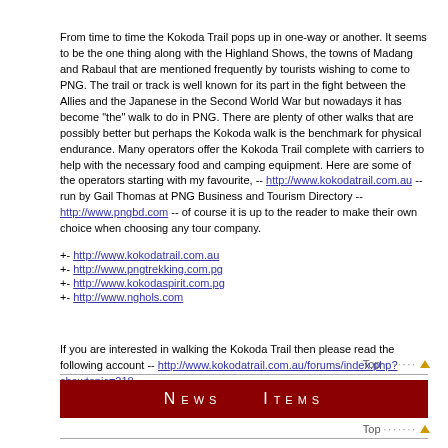From time to time the Kokoda Trail pops up in one-way or another. It seems to be the one thing along with the Highland Shows, the towns of Madang and Rabaul that are mentioned frequently by tourists wishing to come to PNG. The trail or track is well known for its part in the fight between the Allies and the Japanese in the Second World War but nowadays it has become "the" walk to do in PNG. There are plenty of other walks that are possibly better but perhaps the Kokoda walk is the benchmark for physical endurance. Many operators offer the Kokoda Trail complete with carriers to help with the necessary food and camping equipment. Here are some of the operators starting with my favourite, -- http://www.kokodatrail.com.au -- run by Gail Thomas at PNG Business and Tourism Directory -- http://www.pngbd.com -- of course it is up to the reader to make their own choice when choosing any tour company.
+- http://www.kokodatrail.com.au
+- http://www.pngtrekking.com.pg
+- http://www.kokodaspirit.com.pg
+- http://www.nghols.com
If you are interested in walking the Kokoda Trail then please read the following account -- http://www.kokodatrail.com.au/forums/index.php?showtopic=218
News Items
European Union